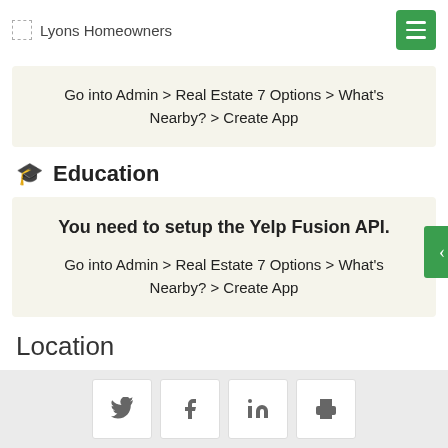Lyons Homeowners
Go into Admin > Real Estate 7 Options > What's Nearby? > Create App
Education
You need to setup the Yelp Fusion API.

Go into Admin > Real Estate 7 Options > What's Nearby? > Create App
Location
Social share buttons: Twitter, Facebook, LinkedIn, Print